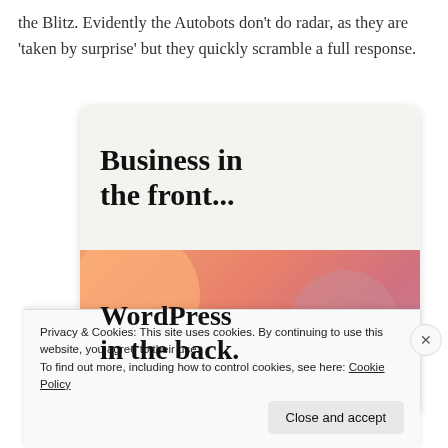the Blitz. Evidently the Autobots don't do radar, as they are 'taken by surprise' but they quickly scramble a full response.
[Figure (screenshot): WordPress advertisement image showing 'Business in the front...' text on a light background (top half) and 'WordPress in the back.' text on a colorful orange/pink/purple gradient background with decorative blobs (bottom half).]
Privacy & Cookies: This site uses cookies. By continuing to use this website, you agree to their use.
To find out more, including how to control cookies, see here: Cookie Policy